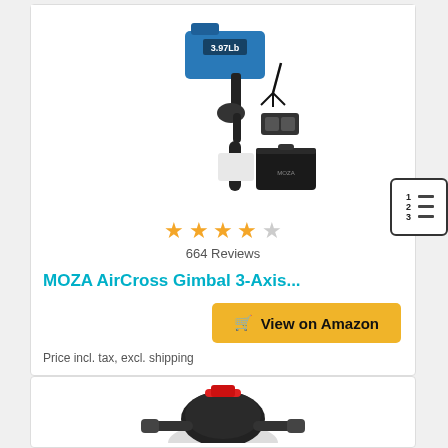[Figure (photo): MOZA AirCross Gimbal 3-Axis product photo showing gimbal with blue camera mounted, accessories including stand, batteries, and carrying case. Label shows 3.97Lb.]
★★★★☆
664 Reviews
MOZA AirCross Gimbal 3-Axis...
[Figure (illustration): Numbered list icon button]
View on Amazon
Price incl. tax, excl. shipping
[Figure (photo): Second product photo showing a motor or follow focus device with red accent, partial view at bottom of page.]